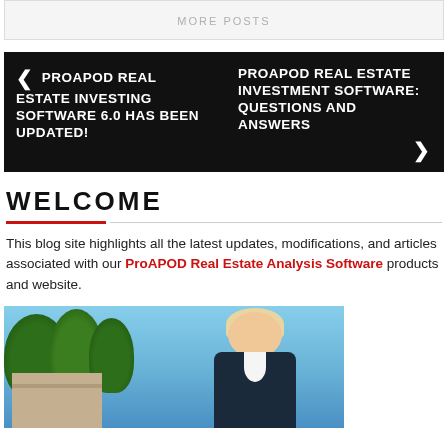MORE POSTS
[Figure (screenshot): Navigation block with two links: left link '< PROAPOD REAL ESTATE INVESTING SOFTWARE 6.0 HAS BEEN UPDATED!' and right link 'PROAPOD REAL ESTATE INVESTMENT SOFTWARE: QUESTIONS AND ANSWERS >']
WELCOME
This blog site highlights all the latest updates, modifications, and articles associated with our ProAPOD Real Estate Analysis Software products and website.
[Figure (photo): Photo of a smiling blonde woman in a dark business jacket, standing outdoors with trees and a building in the background.]